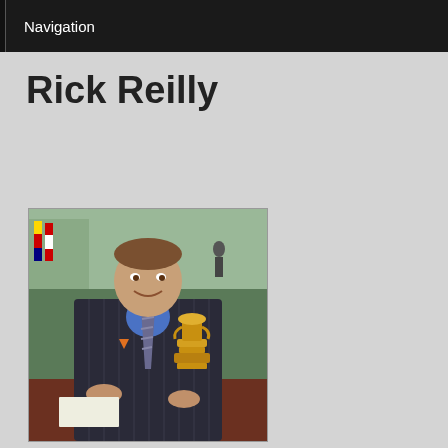Navigation
Rick Reilly
[Figure (photo): Man in dark pinstripe suit and blue shirt with striped tie, seated at a table holding or near a gold trophy (Ryder Cup), with flags and golf course visible in the background.]